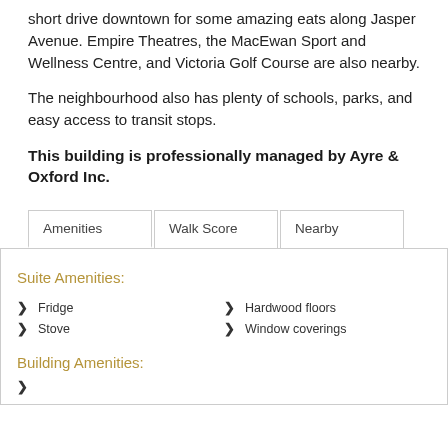short drive downtown for some amazing eats along Jasper Avenue. Empire Theatres, the MacEwan Sport and Wellness Centre, and Victoria Golf Course are also nearby.
The neighbourhood also has plenty of schools, parks, and easy access to transit stops.
This building is professionally managed by Ayre & Oxford Inc.
| Amenities | Walk Score | Nearby |
| --- | --- | --- |
Suite Amenities:
Fridge
Stove
Hardwood floors
Window coverings
Building Amenities: